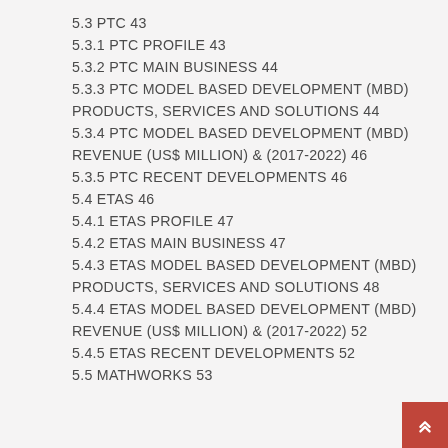5.3 PTC 43
5.3.1 PTC PROFILE 43
5.3.2 PTC MAIN BUSINESS 44
5.3.3 PTC MODEL BASED DEVELOPMENT (MBD) PRODUCTS, SERVICES AND SOLUTIONS 44
5.3.4 PTC MODEL BASED DEVELOPMENT (MBD) REVENUE (US$ MILLION) & (2017-2022) 46
5.3.5 PTC RECENT DEVELOPMENTS 46
5.4 ETAS 46
5.4.1 ETAS PROFILE 47
5.4.2 ETAS MAIN BUSINESS 47
5.4.3 ETAS MODEL BASED DEVELOPMENT (MBD) PRODUCTS, SERVICES AND SOLUTIONS 48
5.4.4 ETAS MODEL BASED DEVELOPMENT (MBD) REVENUE (US$ MILLION) & (2017-2022) 52
5.4.5 ETAS RECENT DEVELOPMENTS 52
5.5 MATHWORKS 53